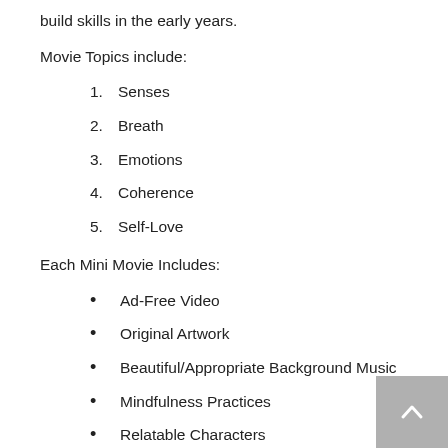build skills in the early years.
Movie Topics include:
1. Senses
2. Breath
3. Emotions
4. Coherence
5. Self-Love
Each Mini Movie Includes:
Ad-Free Video
Original Artwork
Beautiful/Appropriate Background Music
Mindfulness Practices
Relatable Characters
Encouraging Messaging